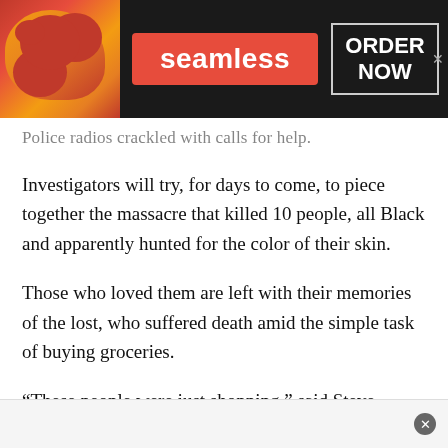[Figure (screenshot): Seamless food delivery advertisement banner with pizza image on left, red 'seamless' button in center, and 'ORDER NOW' box on right, on dark background]
Police radios crackled with calls for help.
Investigators will try, for days to come, to piece together the massacre that killed 10 people, all Black and apparently hunted for the color of their skin.
Those who loved them are left with their memories of the lost, who suffered death amid the simple task of buying groceries.
“These people were just shopping,” said Steve Carlson, 29, mourning his 72-year-old neighbor